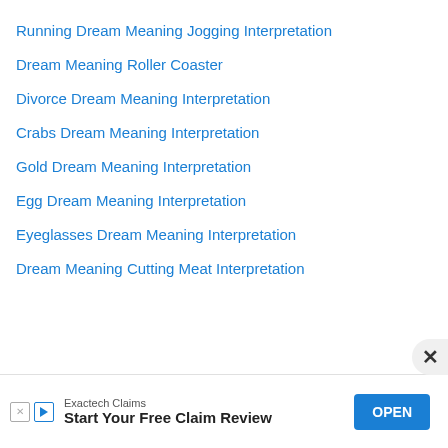Running Dream Meaning Jogging Interpretation
Dream Meaning Roller Coaster
Divorce Dream Meaning Interpretation
Crabs Dream Meaning Interpretation
Gold Dream Meaning Interpretation
Egg Dream Meaning Interpretation
Eyeglasses Dream Meaning Interpretation
Dream Meaning Cutting Meat Interpretation
[Figure (infographic): Advertisement banner: Exactech Claims - Start Your Free Claim Review - OPEN button]